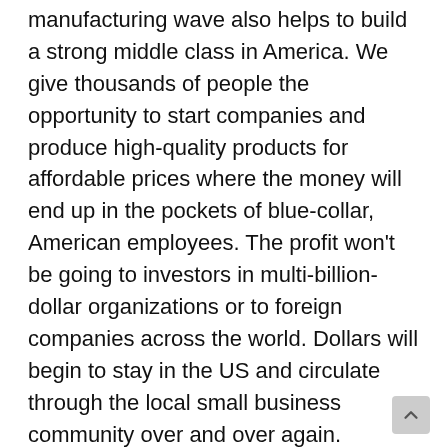manufacturing wave also helps to build a strong middle class in America. We give thousands of people the opportunity to start companies and produce high-quality products for affordable prices where the money will end up in the pockets of blue-collar, American employees. The profit won't be going to investors in multi-billion-dollar organizations or to foreign companies across the world. Dollars will begin to stay in the US and circulate through the local small business community over and over again.
Additionally, we need to see more initiatives like the one taken by MonoSol, a medium-sized water-soluble film manufacturing company, who paid for hundreds of employees to spend $70 on dinner at a few local restaurants in the LaPorte, Indiana community where their major plant is based. This